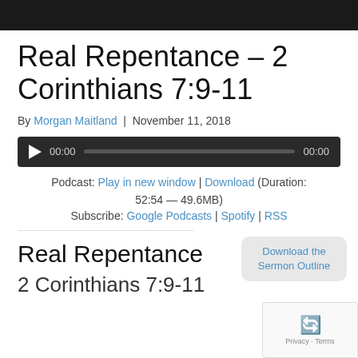[Figure (photo): Dark/black image banner at top of page]
Real Repentance – 2 Corinthians 7:9-11
By Morgan Maitland | November 11, 2018
[Figure (other): Audio player widget with play button, 00:00 timestamps, and progress bar]
Podcast: Play in new window | Download (Duration: 52:54 — 49.6MB)
Subscribe: Google Podcasts | Spotify | RSS
Download the Sermon Outline
Real Repentance
2 Corinthians 7:9-11